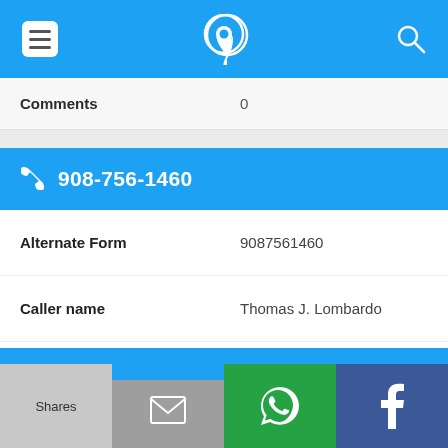[Figure (screenshot): Top navigation bar with hamburger menu icon, phone/location app icon in center, and search icon on right, blue background]
Comments	0
908-756-1460
Alternate Form	9087561460
Caller name	Thomas J. Lombardo
Last User Search	No searches yet
Comments	0
[Figure (screenshot): Bottom share bar with Shares, email, WhatsApp, and Facebook tiles]